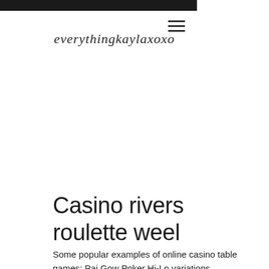everythingkaylaxoxo
Casino rivers roulette weel
Some popular examples of online casino table games: Pai Gow Poker Hi-Lo variations Ultimate Texas Holdem Three card Poker